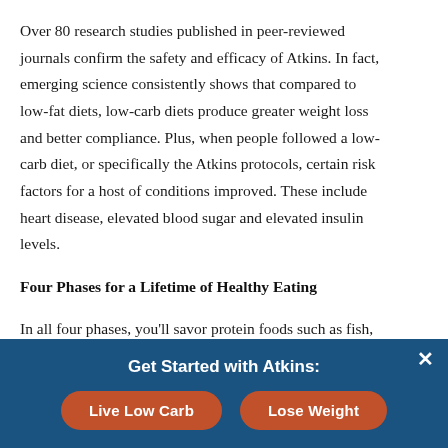Over 80 research studies published in peer-reviewed journals confirm the safety and efficacy of Atkins. In fact, emerging science consistently shows that compared to low-fat diets, low-carb diets produce greater weight loss and better compliance. Plus, when people followed a low-carb diet, or specifically the Atkins protocols, certain risk factors for a host of conditions improved. These include heart disease, elevated blood sugar and elevated insulin levels.
Four Phases for a Lifetime of Healthy Eating
In all four phases, you’ll savor protein foods such as fish, poultry, meat and tofu and healthy fats such as olive oil and avocado, plus “good” carbohydrates. In Induction, these healthy carbs are primarily vegetables. You’ll add a greater variety of whole food carbs in subsequent phases. As you increase your carb intake in each phase
Get Started with Atkins:
Live Low Carb
Lose Weight